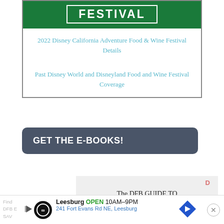[Figure (illustration): Green banner with white border and text FESTIVAL in white bold uppercase letters on dark green background]
2022 Disney California Adventure Food & Wine Festival Details
Past Disney World and Disneyland Food and Wine Festival Coverage
GET THE E-BOOKS!
The DFB GUIDE TO
Find
DFB E
SAV
Leesburg OPEN 10AM–9PM
241 Fort Evans Rd NE, Leesburg